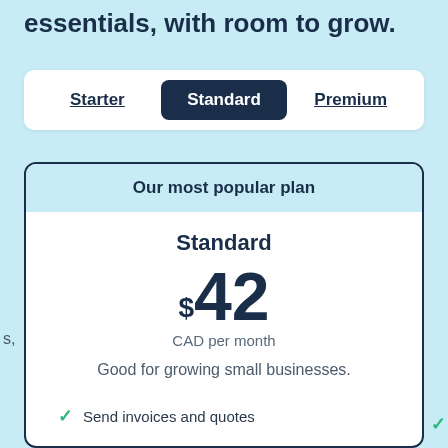essentials, with room to grow.
Starter | Standard | Premium
Our most popular plan
Standard
$42
CAD per month
Good for growing small businesses.
Send invoices and quotes